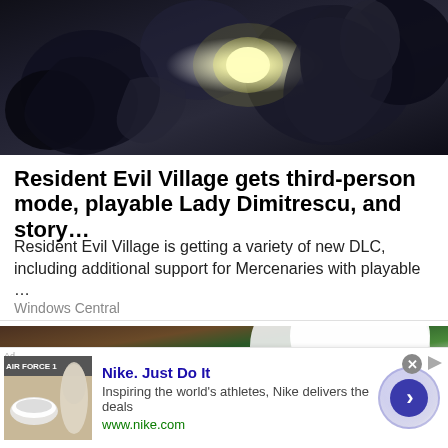[Figure (photo): Screenshot from Resident Evil Village game showing a character firing a gun at dark monster-like creatures in a dark outdoor scene with flash of gunfire]
Resident Evil Village gets third-person mode, playable Lady Dimitrescu, and story…
Resident Evil Village is getting a variety of new DLC, including additional support for Mercenaries with playable …
Windows Central
[Figure (photo): Partial image showing a green background and a white rounded object, likely a light bulb or similar item]
[Figure (infographic): Nike advertisement banner: Nike. Just Do It. Inspiring the world's athletes, Nike delivers the deals. www.nike.com. Shows Nike Air Force 1 shoes and a person, with a blue circular arrow button.]